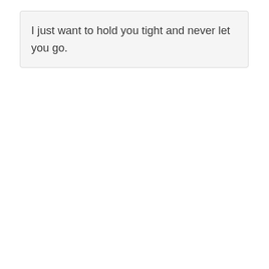I just want to hold you tight and never let you go.